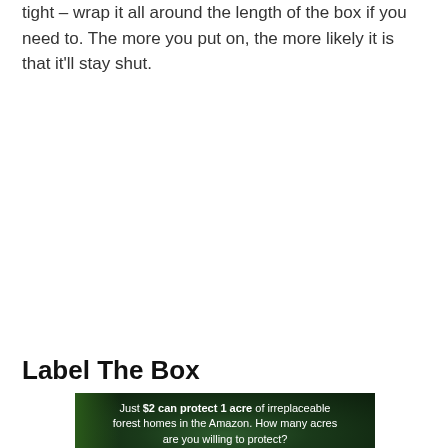tight – wrap it all around the length of the box if you need to. The more you put on, the more likely it is that it'll stay shut.
Label The Box
[Figure (other): Advertisement banner with dark green forest background. Text reads: 'Just $2 can protect 1 acre of irreplaceable forest homes in the Amazon. How many acres are you willing to protect?' with a green 'PROTECT FORESTS NOW' button.]